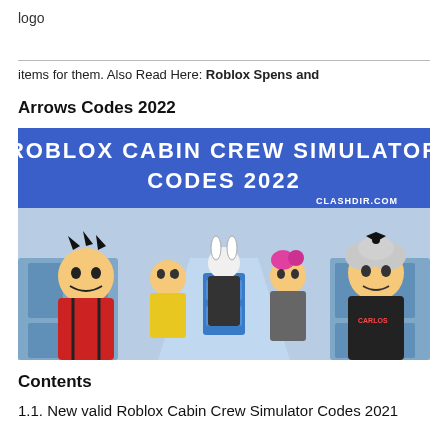logo
items for them. Also Read Here: Roblox Spens and Arrows Codes 2022
Arrows Codes 2022
[Figure (screenshot): Roblox Cabin Crew Simulator Codes 2022 promotional image showing cartoon Roblox characters in an airplane cabin. Blue banner header reads 'ROBLOX CABIN CREW SIMULATOR CODES 2022' with CLASHDIR.COM watermark.]
Contents
1.1. New valid Roblox Cabin Crew Simulator Codes 2021